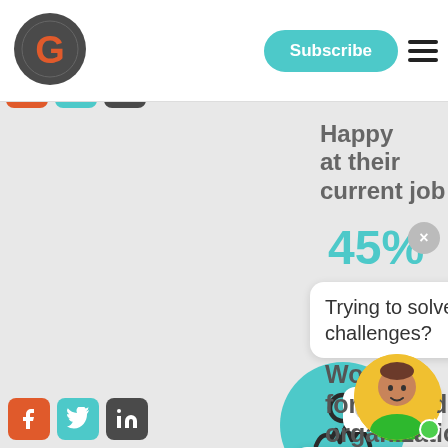[Figure (logo): Dark grey circle logo with orange letter G inside]
Subscribe
Happy at their current job
45%
Trying to solve business challenges?
[Figure (illustration): Teal circle with person/user icon outline]
Yes
Not yet. I'm looking for career info
Work for a good organization
[Figure (illustration): Yellow circle avatar of a person with green online dot]
[Figure (illustration): Social media icons: Facebook, Twitter, LinkedIn]